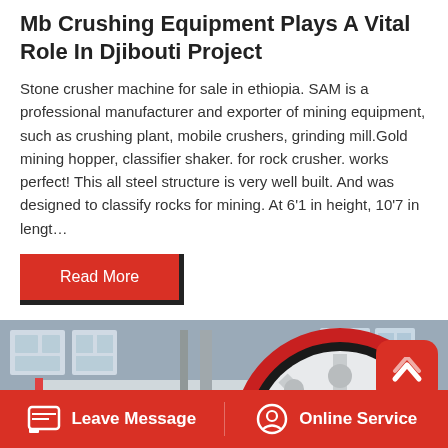Mb Crushing Equipment Plays A Vital Role In Djibouti Project
Stone crusher machine for sale in ethiopia. SAM is a professional manufacturer and exporter of mining equipment, such as crushing plant, mobile crushers, grinding mill.Gold mining hopper, classifier shaker. for rock crusher. works perfect! This all steel structure is very well built. And was designed to classify rocks for mining. At 6'1 in height, 10'7 in lengt…
Read More
[Figure (photo): Industrial jaw crusher machine in a factory setting, showing a large flywheel with red rim and white spoked design, against a grey factory interior with high windows]
Leave Message
Online Service